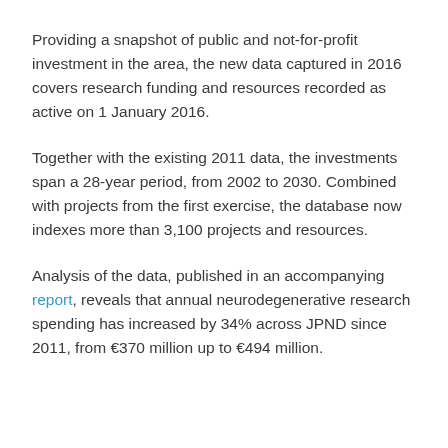Providing a snapshot of public and not-for-profit investment in the area, the new data captured in 2016 covers research funding and resources recorded as active on 1 January 2016.
Together with the existing 2011 data, the investments span a 28-year period, from 2002 to 2030. Combined with projects from the first exercise, the database now indexes more than 3,100 projects and resources.
Analysis of the data, published in an accompanying report, reveals that annual neurodegenerative research spending has increased by 34% across JPND since 2011, from €370 million up to €494 million.